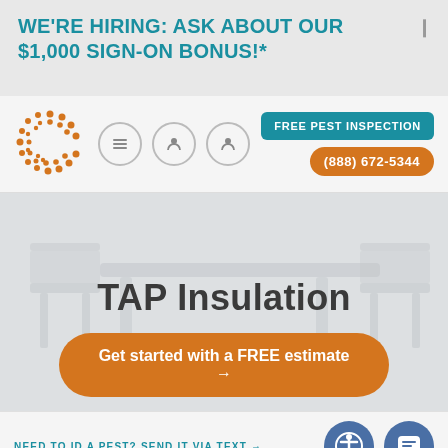WE'RE HIRING: ASK ABOUT OUR $1,000 SIGN-ON BONUS!*
[Figure (logo): Corteva/pest control company dot-pattern C logo in orange]
FREE PEST INSPECTION
(888) 672-5344
TAP Insulation
Get started with a FREE estimate →
NEED TO ID A PEST? SEND IT VIA TEXT →